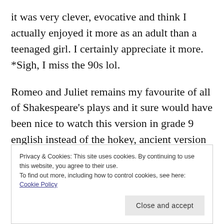it was very clever, evocative and think I actually enjoyed it more as an adult than a teenaged girl. I certainly appreciate it more. *Sigh, I miss the 90s lol.
Romeo and Juliet remains my favourite of all of Shakespeare's plays and it sure would have been nice to watch this version in grade 9 english instead of the hokey, ancient version we watched.
Tell me, what are your thoughts on it? Does it make you nostalgic too?
Privacy & Cookies: This site uses cookies. By continuing to use this website, you agree to their use.
To find out more, including how to control cookies, see here: Cookie Policy